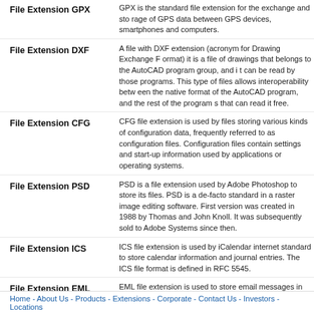File Extension GPX
GPX is the standard file extension for the exchange and storage of GPS data between GPS devices, smartphones and computers.
File Extension DXF
A file with DXF extension (acronym for Drawing Exchange Format) it is a file of drawings that belongs to the AutoCAD program group, and it can be read by those programs. This type of files allows interoperability between the native format of the AutoCAD program, and the rest of the programs that can read it free.
File Extension CFG
CFG file extension is used by files storing various kinds of configuration data, frequently referred to as configuration files. Configuration files contain settings and start-up information used by applications or operating systems.
File Extension PSD
PSD is a file extension used by Adobe Photoshop to store its files. PSD is a de-facto standard in a raster image editing software. First version was created in 1988 by Thomas and John Knoll. It was subsequently sold to Adobe Systems since then.
File Extension ICS
ICS file extension is used by iCalendar internet standard to store calendar information and journal entries. The ICS file format is defined in RFC 5545.
File Extension EML
EML file extension is used to store email messages in RFC-822 format. Programs like Outlook Express, Thunderbird, Apple Mail, Windows Mail, Poco Mail and others export and import e-mails.
Home - About Us - Products - Extensions - Corporate - Contact Us - Investors - Locations